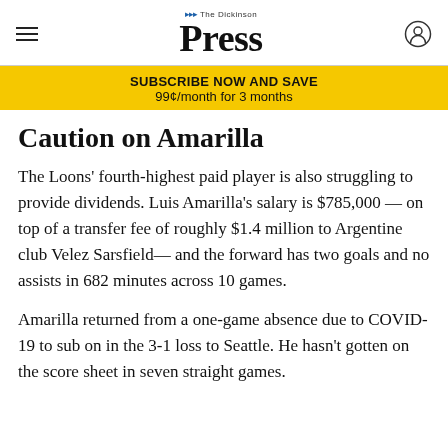The Dickinson Press
SUBSCRIBE NOW AND SAVE
99¢/month for 3 months
Caution on Amarilla
The Loons' fourth-highest paid player is also struggling to provide dividends. Luis Amarilla's salary is $785,000 — on top of a transfer fee of roughly $1.4 million to Argentine club Velez Sarsfield— and the forward has two goals and no assists in 682 minutes across 10 games.
Amarilla returned from a one-game absence due to COVID-19 to sub on in the 3-1 loss to Seattle. He hasn't gotten on the score sheet in seven straight games.